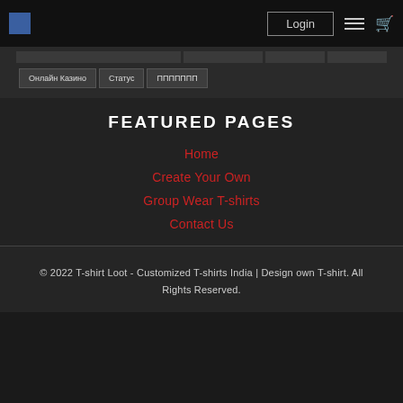Login | Menu | Cart
| Онлайн Казино | Статус | ППППППП |
| --- | --- | --- |
FEATURED PAGES
Home
Create Your Own
Group Wear T-shirts
Contact Us
© 2022 T-shirt Loot - Customized T-shirts India | Design own T-shirt. All Rights Reserved.